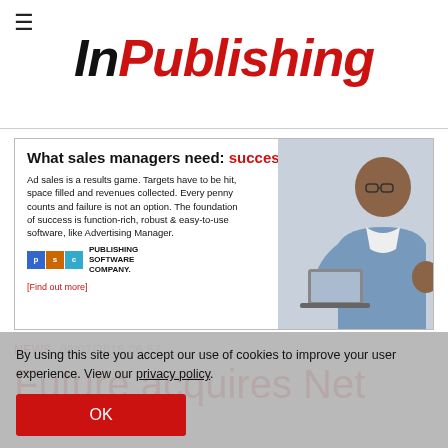InPublishing
[Figure (infographic): Advertisement banner: 'What sales managers need: success' — Publishing Software Company ad with photo of man with laptop]
NEWS  08/07/2015 06:57
Future acquires Net
By using this site you accept our use of cookies to improve your user experience. View our privacy policy.
OK